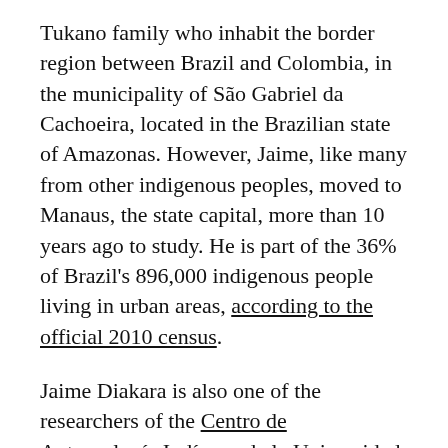Tukano family who inhabit the border region between Brazil and Colombia, in the municipality of São Gabriel da Cachoeira, located in the Brazilian state of Amazonas. However, Jaime, like many from other indigenous peoples, moved to Manaus, the state capital, more than 10 years ago to study. He is part of the 36% of Brazil's 896,000 indigenous people living in urban areas, according to the official 2010 census.
Jaime Diakara is also one of the researchers of the Centro de Antropología Indígena de la Universidad Federal de Amazonas. And, precisely since the beginning of the pandemic, they have been collecting texts, audios, and artistic manifestations of the diverse impacts caused by Covid-19 on the indigenous peoples of Amazonas.